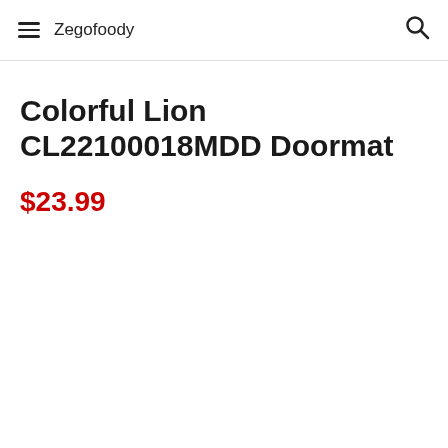Zegofoody
Colorful Lion CL22100018MDD Doormat
$23.99